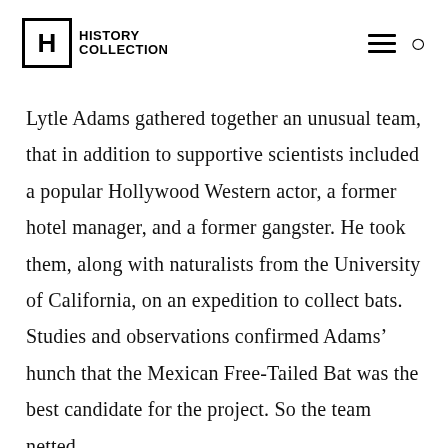History Collection
Lytle Adams gathered together an unusual team, that in addition to supportive scientists included a popular Hollywood Western actor, a former hotel manager, and a former gangster. He took them, along with naturalists from the University of California, on an expedition to collect bats. Studies and observations confirmed Adams’ hunch that the Mexican Free-Tailed Bat was the best candidate for the project. So the team netted